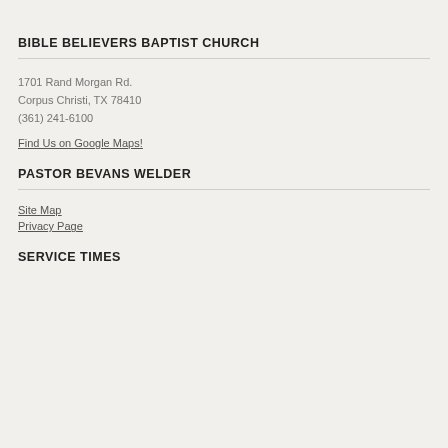BIBLE BELIEVERS BAPTIST CHURCH
1701 Rand Morgan Rd.
Corpus Christi, TX 78410
(361) 241-6100
Find Us on Google Maps!
PASTOR BEVANS WELDER
Site Map
Privacy Page
SERVICE TIMES